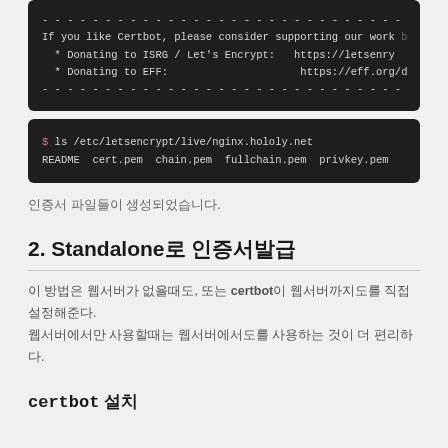[Figure (screenshot): Terminal code block showing certbot donation message with dashed separator lines and two bullet points about donating to ISRG/Let's Encrypt and EFF]
[Figure (screenshot): Terminal code block showing: $ ls /etc/letsencrypt/live/nginx.hololy.net and output: README  cert.pem  chain.pem  fullchain.pem  privkey.pem]
인증서 파일들이 생성되었습니다.
2. Standalone로 인증서발급
이 방법은 웹서버가 없을때도, 또는 certbot이 웹서버까지도를 직접 설정해준다. 웹서버에서만 사용할때는 웹서버에서도를 사용하는 것이 더 편리하다.
certbot 설치